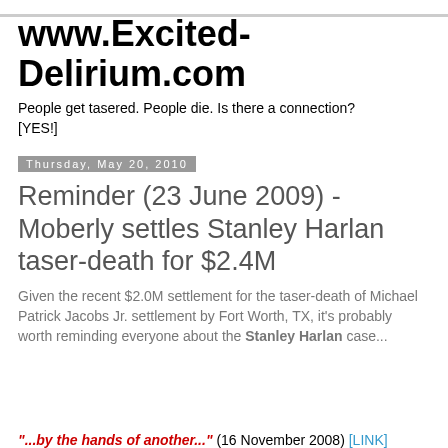www.Excited-Delirium.com
People get tasered. People die. Is there a connection? [YES!]
Thursday, May 20, 2010
Reminder (23 June 2009) - Moberly settles Stanley Harlan taser-death for $2.4M
Given the recent $2.0M settlement for the taser-death of Michael Patrick Jacobs Jr. settlement by Fort Worth, TX, it's probably worth reminding everyone about the Stanley Harlan case...
"...by the hands of another..." (16 November 2008) [LINK]